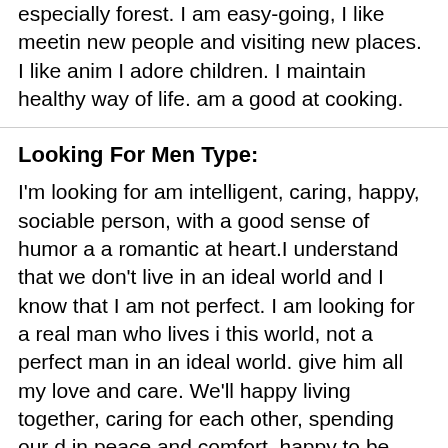especially forest. I am easy-going, I like meeting new people and visiting new places. I like anim I adore children. I maintain healthy way of life. am a good at cooking.
Looking For Men Type:
I'm looking for am intelligent, caring, happy, sociable person, with a good sense of humor a a romantic at heart.I understand that we don't live in an ideal world and I know that I am not perfect. I am looking for a real man who lives i this world, not a perfect man in an ideal world. give him all my love and care. We'll happy living together, caring for each other, spending our d in peace and comfort, happy to be together and grow old together.
Advertising
[Figure (photo): Advertising banner with people photos]